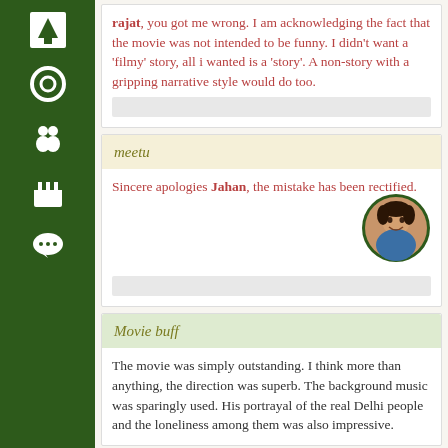[Figure (infographic): Dark green vertical sidebar with white icons: up arrow, circle/loading, person/profile, clapperboard, speech bubble]
rajat, you got me wrong. I am acknowledging the fact that the movie was not intended to be funny. I didn't want a 'filmy' story, all i wanted is a 'story'. A non-story with a gripping narrative style would do too.
meetu
Sincere apologies Jahan, the mistake has been rectified.
Movie buff
The movie was simply outstanding. I think more than anything, the direction was superb. The background music was sparingly used. His portrayal of the real Delhi people and the loneliness among them was also impressive.